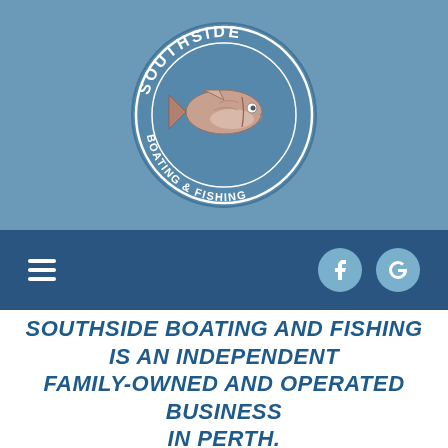[Figure (logo): Southside Boating & Fishing circular logo with a fish illustration in the center, text 'SOUTHSIDE' on top arc and 'BOATING & FISHING' on bottom arc, on a steel blue background]
[Figure (other): Navigation bar with hamburger menu icon on the left and Facebook and Google circular icons on the right]
SOUTHSIDE BOATING AND FISHING IS AN INDEPENDENT FAMILY-OWNED AND OPERATED BUSINESS in Perth.